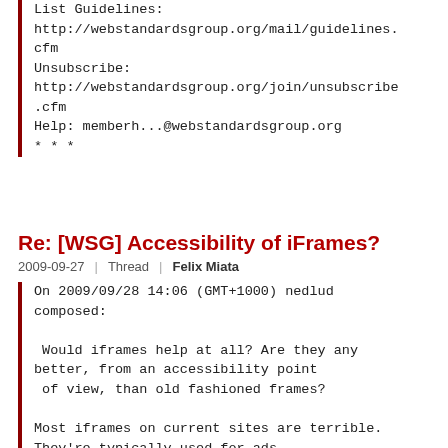List Guidelines:
http://webstandardsgroup.org/mail/guidelines.cfm
Unsubscribe:
http://webstandardsgroup.org/join/unsubscribe.cfm
Help: memberh...@webstandardsgroup.org
* * *
Re: [WSG] Accessibility of iFrames?
2009-09-27   |   Thread   |   Felix Miata
On 2009/09/28 14:06 (GMT+1000) nedlud composed:

 Would iframes help at all? Are they any better, from an accessibility point of view, than old fashioned frames?

Most iframes on current sites are terrible. They're typically used for ads, and a minimal HTML size is set or defaulted